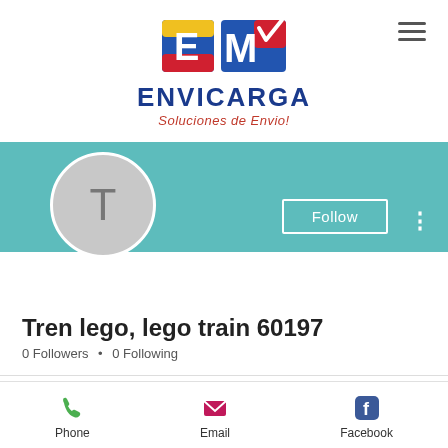[Figure (logo): ENVICARGA logo with EM letters in blue, yellow, red colors and checkmark, with text ENVICARGA and tagline Soluciones de Envio!]
[Figure (screenshot): Teal/turquoise profile banner with Follow button and three-dot menu, avatar circle with letter T, profile name Tren lego lego train 60197, 0 Followers 0 Following, and bottom bar with Phone Email Facebook icons]
Tren lego, lego train 60197
0 Followers • 0 Following